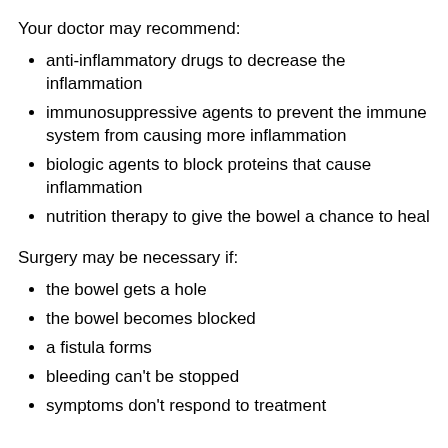Your doctor may recommend:
anti-inflammatory drugs to decrease the inflammation
immunosuppressive agents to prevent the immune system from causing more inflammation
biologic agents to block proteins that cause inflammation
nutrition therapy to give the bowel a chance to heal
Surgery may be necessary if:
the bowel gets a hole
the bowel becomes blocked
a fistula forms
bleeding can't be stopped
symptoms don't respond to treatment